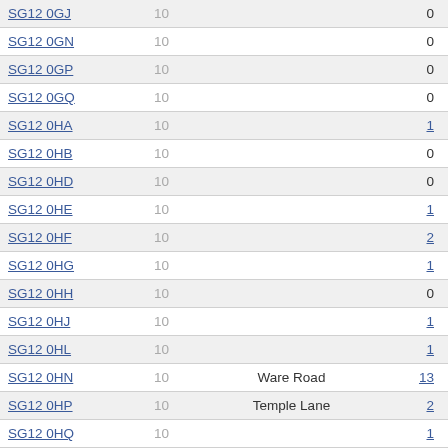| Postcode | Households | Street | Count |
| --- | --- | --- | --- |
| SG12 0GJ | 10 |  | 0 |
| SG12 0GN | 10 |  | 0 |
| SG12 0GP | 10 |  | 0 |
| SG12 0GQ | 10 |  | 0 |
| SG12 0HA | 10 |  | 1 |
| SG12 0HB | 10 |  | 0 |
| SG12 0HD | 10 |  | 0 |
| SG12 0HE | 10 |  | 1 |
| SG12 0HF | 10 |  | 2 |
| SG12 0HG | 10 |  | 1 |
| SG12 0HH | 10 |  | 0 |
| SG12 0HJ | 10 |  | 1 |
| SG12 0HL | 10 |  | 1 |
| SG12 0HN | 10 | Ware Road | 13 |
| SG12 0HP | 10 | Temple Lane | 2 |
| SG12 0HQ | 10 |  | 1 |
| SG12 0HR | 10 | The Orchard | 8 |
| SG12 0HS | 10 |  | 1 |